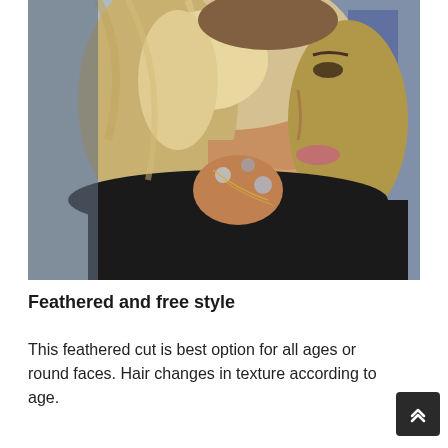[Figure (photo): Close-up photo of a woman with short wavy blonde hair wearing a black top, holding her hand to her neck adorned with decorative rings and hand chain jewelry.]
Feathered and free style
This feathered cut is best option for all ages or round faces. Hair changes in texture according to age.